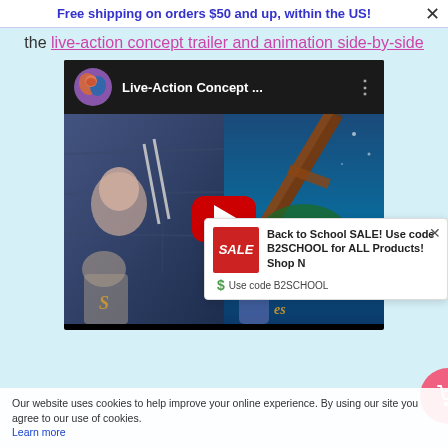Free shipping on orders $50 and up, within the US!
the live-action concept trailer and animation side-by-side
[Figure (screenshot): YouTube video embed showing 'Live-Action Concept ...' with a split thumbnail showing live-action footage on the left and animation on the right, with a red play button in the center]
[Figure (infographic): Back to School SALE popup with red SALE badge, text 'Back to School SALE! Use code B2SCHOOL for ALL Products! Shop Now', and a shopping cart icon button]
Our website uses cookies to help improve your online experience. By using our site you agree to our use of cookies. Learn more